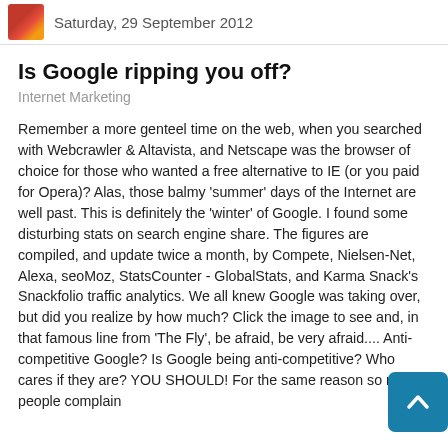Saturday, 29 September 2012
Is Google ripping you off?
Internet Marketing
Remember a more genteel time on the web, when you searched with Webcrawler & Altavista, and Netscape was the browser of choice for those who wanted a free alternative to IE (or you paid for Opera)?  Alas, those balmy 'summer' days of the Internet are well past.  This is definitely the 'winter' of Google. I found some disturbing stats on search engine share.  The figures are compiled, and update twice a month, by Compete, Nielsen-Net, Alexa, seoMoz, StatsCounter - GlobalStats, and Karma Snack's Snackfolio traffic analytics.  We all knew Google was taking over, but did you realize by how much?  Click the image to see and, in that famous line from 'The Fly', be afraid, be very afraid.... Anti-competitive Google? Is Google being anti-competitive?  Who cares if they are?  YOU SHOULD!  For the same reason so many people complain